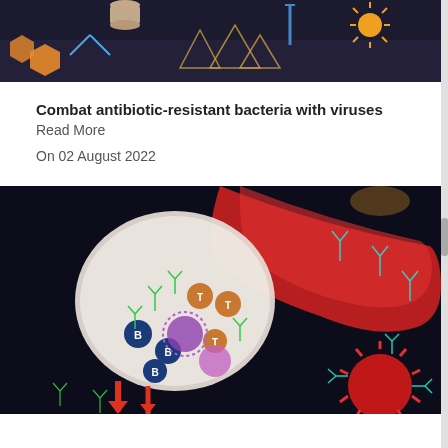[Figure (illustration): Top portion of a scientific illustration showing antibiotic-resistant bacteria and viruses on a dark background with orange hexagonal shapes and yellow/orange spiked virus particles]
Combat antibiotic-resistant bacteria with viruses
Read More
On 02 August 2022
[Figure (illustration): Scientific medical illustration showing immune system components: a lymph node with B cells, T cells, and other immune cells on a dark background, with a red blood vessel containing antibodies (Y-shaped) and a red spiky virus particle at lower right]